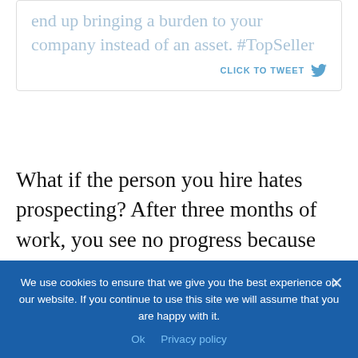end up bringing a burden to your company instead of an asset. #TopSeller
CLICK TO TWEET
What if the person you hire hates prospecting? After three months of work, you see no progress because that salesperson never had to prospect before and now she is having a difficult time. This
We use cookies to ensure that we give you the best experience on our website. If you continue to use this site we will assume that you are happy with it.
Ok   Privacy policy